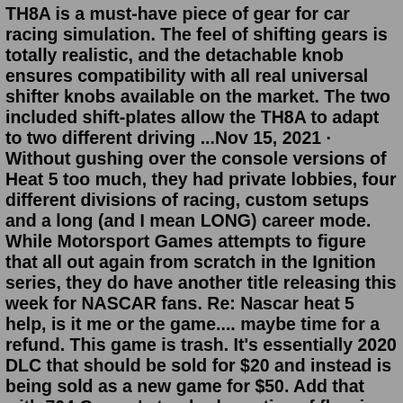TH8A is a must-have piece of gear for car racing simulation. The feel of shifting gears is totally realistic, and the detachable knob ensures compatibility with all real universal shifter knobs available on the market. The two included shift-plates allow the TH8A to adapt to two different driving ...Nov 15, 2021 · Without gushing over the console versions of Heat 5 too much, they had private lobbies, four different divisions of racing, custom setups and a long (and I mean LONG) career mode. While Motorsport Games attempts to figure that all out again from scratch in the Ignition series, they do have another title releasing this week for NASCAR fans. Re: Nascar heat 5 help, is it me or the game.... maybe time for a refund. This game is trash. It's essentially 2020 DLC that should be sold for $20 and instead is being sold as a new game for $50. Add that with 704 Games' standard practice of fleecing customers on DLC paint jobs, and I'm done with this series.What NASCAR Heat 5 does bring to the table is the 2020 Cup season with full rosters, teams and tracks. When